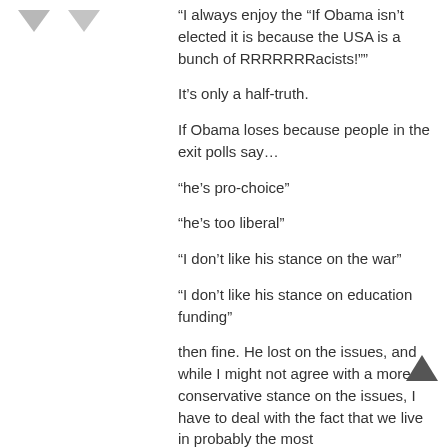[Figure (other): Two downward-pointing arrow/chevron icons in gray]
“I always enjoy the “If Obama isn’t elected it is because the USA is a bunch of RRRRRRRacists!””
It’s only a half-truth.
If Obama loses because people in the exit polls say…
“he’s pro-choice”
“he’s too liberal”
“I don’t like his stance on the war”
“I don’t like his stance on education funding”
then fine. He lost on the issues, and while I might not agree with a more conservative stance on the issues, I have to deal with the fact that we live in probably the most
[Figure (other): Upward-pointing chevron/scroll-to-top icon in dark gray]